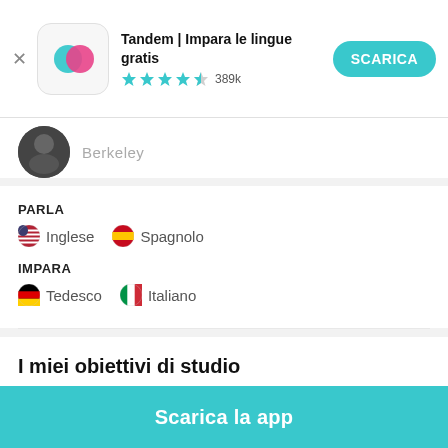[Figure (screenshot): Tandem app icon — teal and pink overlapping speech bubbles on white rounded square background]
Tandem | Impara le lingue gratis
★★★★½ 389k
SCARICA
[Figure (photo): Partially visible user profile avatar photo, cropped at top]
Berkeley
PARLA
🇺🇸 Inglese   🇪🇸 Spagnolo
IMPARA
🇩🇪 Tedesco   🇮🇹 Italiano
I miei obiettivi di studio
My top priority now is to learn a little bit of conversational...Leggi di più
Scarica la app